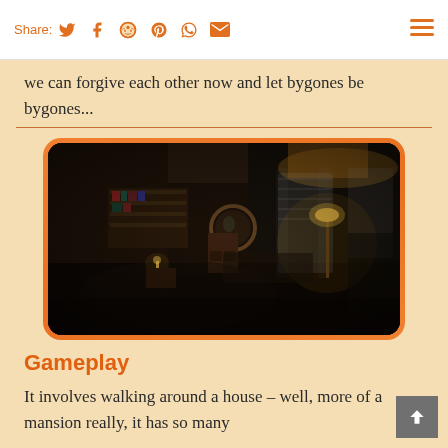Share: [twitter] [facebook] [reddit] [pinterest] [whatsapp] [email]
we can forgive each other now and let bygones be bygones...
[Figure (screenshot): Dark interior room scene from a video game, showing a dimly lit bedroom/living room with a floor lamp, curtains, bookshelves, and furniture.]
Gameplay
It involves walking around a house – well, more of a mansion really, it has so many